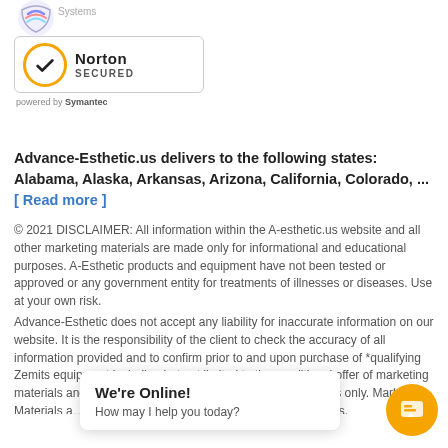[Figure (logo): Partial colorful logo icon at top left with 'Systems' text beside it]
[Figure (logo): Norton Secured badge with gold checkmark circle, 'Norton' bold text, 'SECURED' label, and 'powered by Symantec' text below]
Advance-Esthetic.us delivers to the following states: Alabama, Alaska, Arkansas, Arizona, California, Colorado, ... [ Read more ]
© 2021 DISCLAIMER: All information within the A-esthetic.us website and all other marketing materials are made only for informational and educational purposes. A-Esthetic products and equipment have not been tested or approved or any government entity for treatments of illnesses or diseases. Use at your own risk.
Advance-Esthetic does not accept any liability for inaccurate information on our website. It is the responsibility of the client to check the accuracy of all information provided and to confirm prior to and upon purchase of *qualifying Zemits equipment including but not limited to the conditional offer of marketing materials and other such offers for the defined brands. Zemits only. Marketing Materials a... hing. Not applicable with Venus, ...eq ETC., Definitions: Qualified:
We're Online!
How may I help you today?